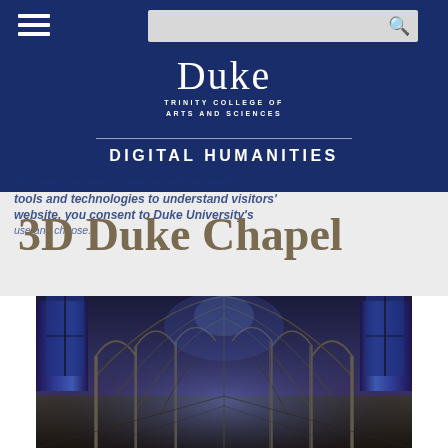Duke Trinity College of Arts and Sciences — Digital Humanities
This website uses cookies as well as similar tools and technologies to understand visitors' website, you consent to Duke University's use and choose.
3D Duke Chapel
[Figure (photo): Interior of Duke Chapel showing gothic nave with vaulted stone ceilings, stained glass windows and arched columns, viewed from the entrance looking toward the altar.]